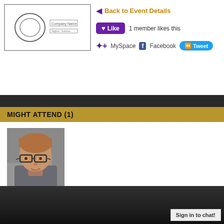[Figure (logo): Logo/banner image in top left corner with border frame]
← Back to Event Details
❤ Like   1 member likes this
MySpace   Facebook   Tweet
MIGHT ATTEND (1)
[Figure (photo): Photo of Rhea Dopmeijer, a woman with short hair and glasses]
Rhea Dopmeijer
Sign in to chat!